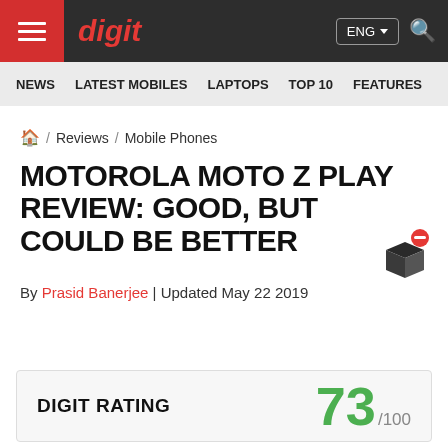digit — ENG — navigation bar
NEWS  LATEST MOBILES  LAPTOPS  TOP 10  FEATURES
🏠 / Reviews / Mobile Phones
MOTOROLA MOTO Z PLAY REVIEW: GOOD, BUT COULD BE BETTER
By Prasid Banerjee | Updated May 22 2019
| DIGIT RATING | 73 /100 |
| --- | --- |